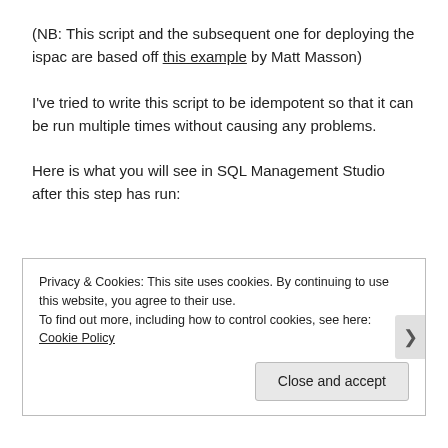(NB: This script and the subsequent one for deploying the ispac are based off this example by Matt Masson)
I've tried to write this script to be idempotent so that it can be run multiple times without causing any problems.
Here is what you will see in SQL Management Studio after this step has run:
Privacy & Cookies: This site uses cookies. By continuing to use this website, you agree to their use.
To find out more, including how to control cookies, see here: Cookie Policy
[Close and accept button]